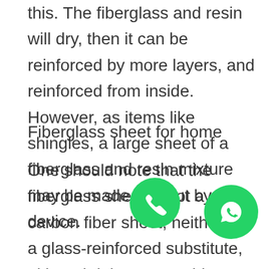this. The fiberglass and resin will dry, then it can be reinforced by more layers, and reinforced from inside. However, as items like shingles, a large sheet of a fiberglass and resin mixture may be made and cut by a device.
Fiberglass sheet for home
One should note that the fiberglass sheet is not a carbon fiber sheet; neither is it a glass-reinforced substitute, although it is comparable to both. Carbon fiber, which made of strands of carbon, cannot do projected in nds as rich as fiberglass, as it will brea Among other reason,